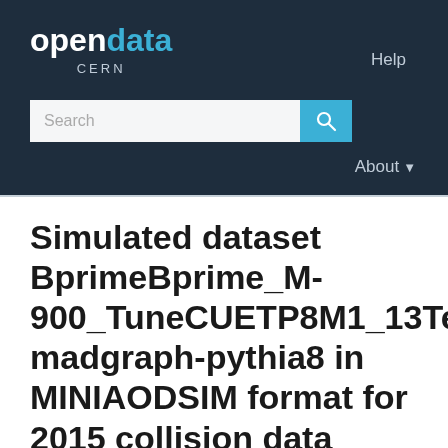opendata CERN
Help
Search
About
Simulated dataset BprimeBprime_M-900_TuneCUETP8M1_13TeV-madgraph-pythia8 in MINIAODSIM format for 2015 collision data
/BprimeBprime_M-900_TuneCUETP8M1_13TeV-madgraph-